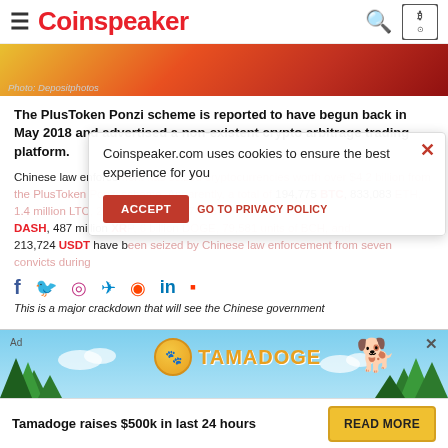Coinspeaker
Photo: Depositphotos
The PlusToken Ponzi scheme is reported to have begun back in May 2018 and advertised a non-existent crypto arbitrage trading platform.
Chinese law enforcement has seized cryptocurrencies worth over $4.2 billion from the PlusToken Ponzi scheme. Apparently, a total of 194,775 BTC, 833,083 ETH, 1.4 million LTC, 27.6 million EOS, 74,167 DASH, 487 million XRP, 6 billion DOGE, 79,581 units of BCH, and 213,724 USDT have been seized by Chinese law enforcement from seven convicts during...
This is a major crackdown that will see the Chinese government
[Figure (screenshot): Cookie consent popup overlay: 'Coinspeaker.com uses cookies to ensure the best experience for you' with ACCEPT and GO TO PRIVACY POLICY buttons]
[Figure (infographic): Tamadoge advertisement banner with logo, trees, and 'Tamadoge raises $500k in last 24 hours' text with READ MORE button]